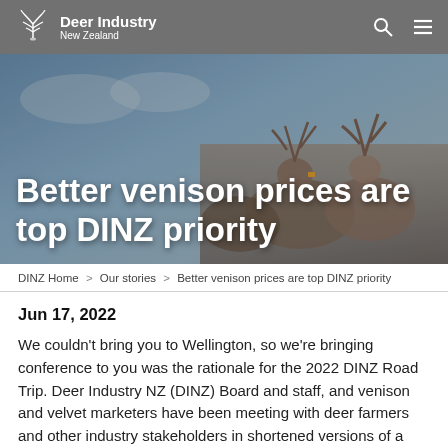Deer Industry New Zealand
[Figure (photo): Hero image showing deer with antlers against a blue sky background, with large white text overlay reading 'Better venison prices are top DINZ priority']
Better venison prices are top DINZ priority
DINZ Home > Our stories > Better venison prices are top DINZ priority
Jun 17, 2022
We couldn't bring you to Wellington, so we're bringing conference to you was the rationale for the 2022 DINZ Road Trip. Deer Industry NZ (DINZ) Board and staff, and venison and velvet marketers have been meeting with deer farmers and other industry stakeholders in shortened versions of a conference in Palmerston North, Taupo,